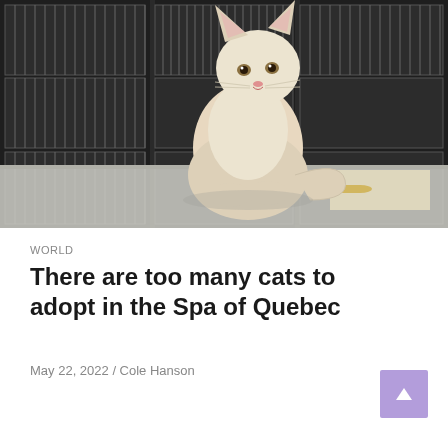[Figure (photo): A cream/white cat sitting on a stainless steel examination table in an animal shelter, with rows of metal cages visible in the background.]
WORLD
There are too many cats to adopt in the Spa of Quebec
May 22, 2022 / Cole Hanson